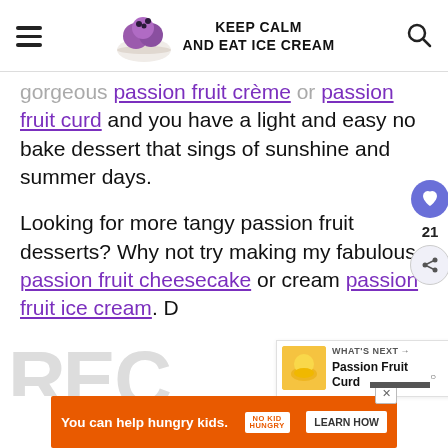KEEP CALM AND EAT ICE CREAM
gorgeous passion fruit creme or passion fruit curd and you have a light and easy no bake dessert that sings of sunshine and summer days.
Looking for more tangy passion fruit desserts? Why not try making my fabulous passion fruit cheesecake or cream passion fruit ice cream. D
[Figure (other): What's Next widget showing Passion Fruit Curd with thumbnail image]
You can help hungry kids. NO KID HUNGRY LEARN HOW